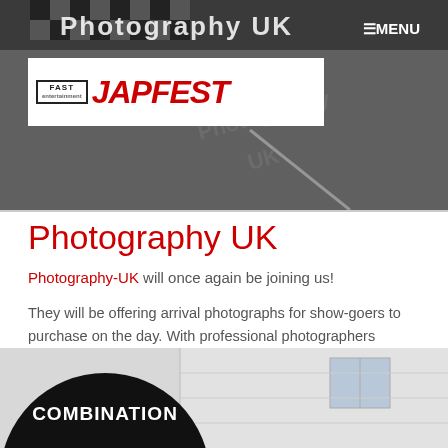[Figure (photo): Website header banner showing a racing car photography background with checkered flag pattern text reading 'Photography UK'. A dark navigation menu button with hamburger icon and 'MENU' text appears in the top right. The Japfest logo (with Fast Entertainment branding) appears in the upper left on a white background.]
Photography UK
Photography-UK will once again be joining us!
They will be offering arrival photographs for show-goers to purchase on the day. With professional photographers situated at the entrance, they're sure to grab a snap of you and your car as you make you way into the show!
Continue reading....
[Figure (photo): Bottom section of a webpage showing the lower portion of a black circle with 'COMBINATION' text in white bold letters, set against a light grey building background.]